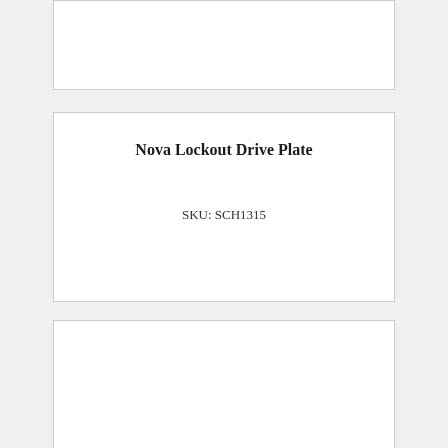[Figure (other): Top product card with no visible text content, partially cut off at top of page]
Nova Lockout Drive Plate
SKU: SCH1315
Nova Spur Gear 76T
SKU: SCH1323